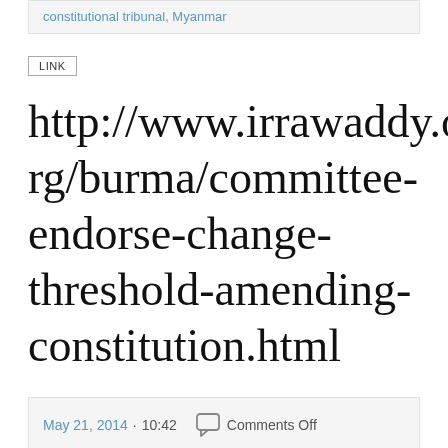constitutional tribunal, Myanmar
LINK
http://www.irrawaddy.org/burma/committee-endorse-change-threshold-amending-constitution.html
May 21, 2014 · 10:42   Comments Off